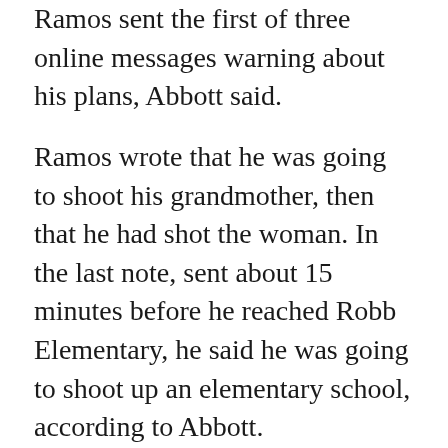Ramos sent the first of three online messages warning about his plans, Abbott said.
Ramos wrote that he was going to shoot his grandmother, then that he had shot the woman. In the last note, sent about 15 minutes before he reached Robb Elementary, he said he was going to shoot up an elementary school, according to Abbott. Investigators said Ramos did not specify which school.
Ramos sent the private, one-to-one text messages via Facebook, said company spokesman Andy Stone. It was not clear who received the messages.
Grief engulfed Uvalde as the details emerged.
The dead included Eliahna Garcia, an outgoing